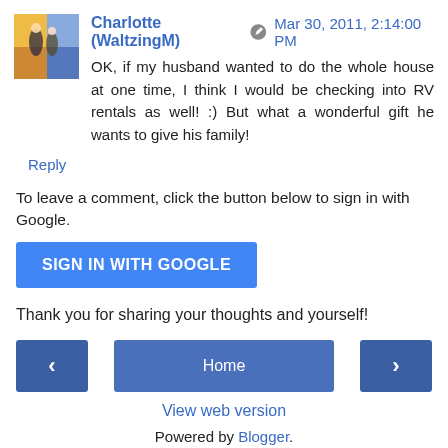Charlotte (WaltzingM) — Mar 30, 2011, 2:14:00 PM
OK, if my husband wanted to do the whole house at one time, I think I would be checking into RV rentals as well! :) But what a wonderful gift he wants to give his family!
Reply
To leave a comment, click the button below to sign in with Google.
SIGN IN WITH GOOGLE
Thank you for sharing your thoughts and yourself!
‹   Home   ›
View web version
Powered by Blogger.